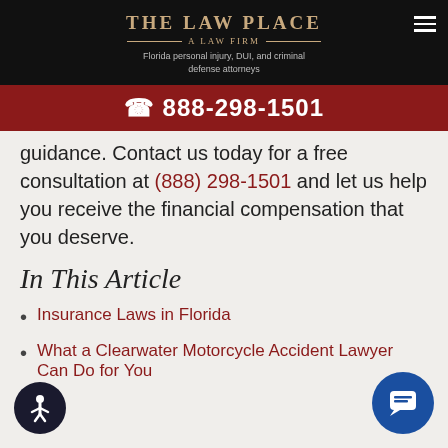The Law Place — A Law Firm — Florida personal injury, DUI, and criminal defense attorneys
☎ 888-298-1501
guidance. Contact us today for a free consultation at (888) 298-1501 and let us help you receive the financial compensation that you deserve.
In This Article
Insurance Laws in Florida
What a Clearwater Motorcycle Accident Lawyer Can Do for You